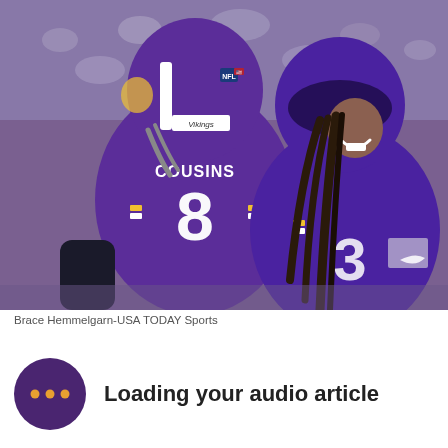[Figure (photo): Two Minnesota Vikings NFL players in purple jerseys celebrating on the field. The player in the foreground wears jersey number 8 with the name COUSINS on the back and a purple helmet with the Vikings logo. A second player faces him smiling, wearing a purple Vikings helmet and jersey with number 3x visible. Crowd visible in background.]
Brace Hemmelgarn-USA TODAY Sports
Loading your audio article